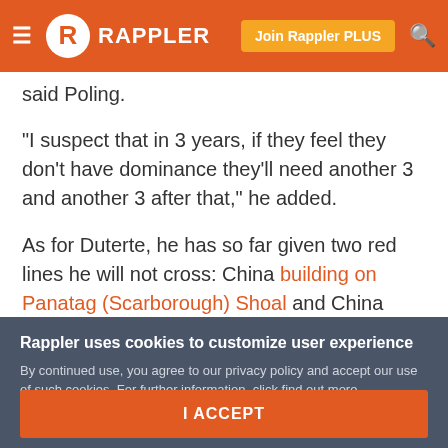Rappler — navigation bar with hamburger menu, Rappler logo, Join Rappler PLUS button, search icon
said Poling.
“I suspect that in 3 years, if they feel they don’t have dominance they’ll need another 3 and another 3 after that,” he added.
As for Duterte, he has so far given two red lines he will not cross: China building on Panatag (Scarborough) Shoal and China taking oil and gas resources from the West Philippine Sea.
Rappler uses cookies to customize user experience
By continued use, you agree to our privacy policy and accept our use of such cookies. For further information, click find out more
I ACCEPT